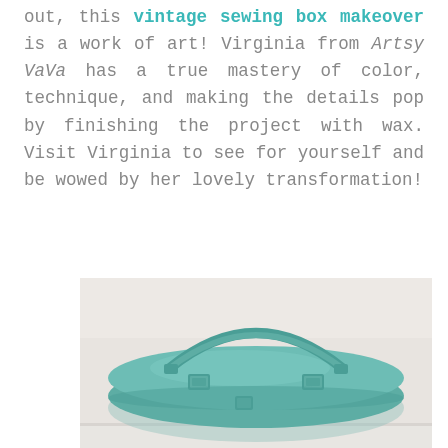out, this vintage sewing box makeover is a work of art! Virginia from Artsy VaVa has a true mastery of color, technique, and making the details pop by finishing the project with wax. Visit Virginia to see for yourself and be wowed by her lovely transformation!
[Figure (photo): A vintage sewing box painted in turquoise/mint green, photographed from above showing its round lid with two rectangular metal clasps and a metal handle across the top, set against a light wall background.]